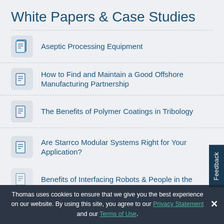White Papers & Case Studies
Aseptic Processing Equipment
How to Find and Maintain a Good Offshore Manufacturing Partnership
The Benefits of Polymer Coatings in Tribology
Are Starrco Modular Systems Right for Your Application?
Benefits of Interfacing Robots & People in the
Thomas uses cookies to ensure that we give you the best experience on our website. By using this site, you agree to our Privacy Statement and our Terms of Use.